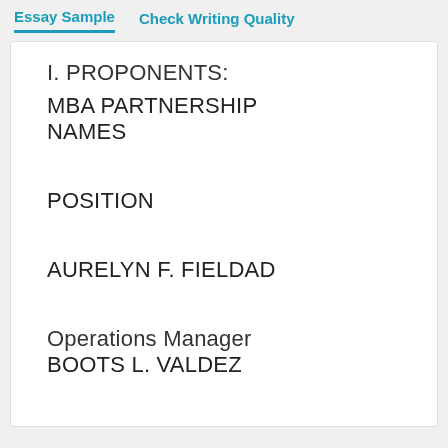Essay Sample   Check Writing Quality
I. PROPONENTS:
MBA PARTNERSHIP
NAMES
POSITION
AURELYN F. FIELDAD
Operations Manager
BOOTS L. VALDEZ